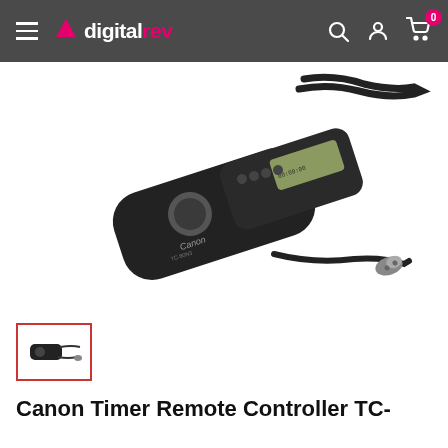digitalrev
[Figure (photo): Canon Timer Remote Controller TC-80N3 product photo showing the black wired remote controller with LCD display, control buttons, shutter button, and angled connector plug attached to cable]
[Figure (photo): Small thumbnail image of the Canon Timer Remote Controller TC-80N3]
Canon Timer Remote Controller TC-